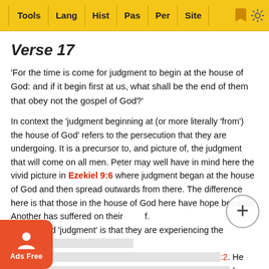Tools | Lang | Hist | Pas | Per | Site
Verse 17
'For the time is come for judgment to begin at the house of God: and if it begin first at us, what shall be the end of them that obey not the gospel of God?'
In context the 'judgment beginning at (or more literally 'from') the house of God' refers to the persecution that they are undergoing. It is a precursor to, and picture of, the judgment that will come on all men. Peter may well have in mind here the vivid picture in Ezekiel 9:6 where judgment began at the house of God and then spread outwards from there. The difference here is that those in the house of God here have hope because Another has suffered on their behalf. idea behind 'judgment' is that they are experiencing the milder form of God's judgment... chastisement ...2. He has co... d a